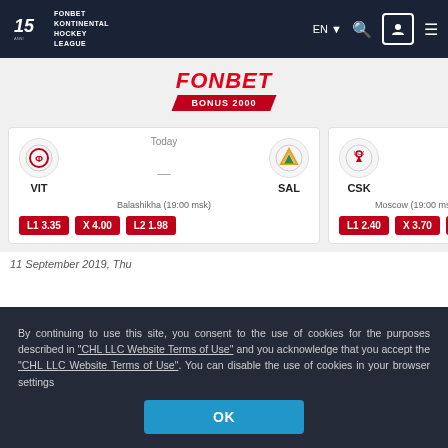FONBET KONTINENTAL HOCKEY LEAGUE | EN | [search] [user] [menu]
[Figure (logo): Fonbet KHL 15th anniversary logo with text FONBET BONUS 2000]
[Figure (infographic): Game card: VIT vs SAL, Today, Balashikha (19:00 msk), odds L1 3.35, X 4.00, L2 1.98]
[Figure (infographic): Game card partial: CSK, Today, Moscow (19:00 msk), odds L1 2.40, X 3.70, L2 2.7...]
By continuing to use this site, you consent to the use of cookies for the purposes described in "CHL LLC Website Terms of Use" and you acknowledge that you accept the "CHL LLC Website Terms of Use". You can disable the use of cookies in your browser settings
OK